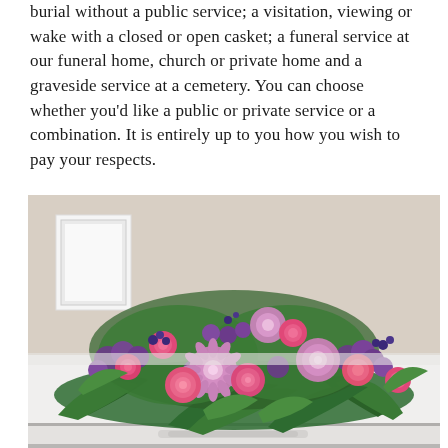burial without a public service; a visitation, viewing or wake with a closed or open casket; a funeral service at our funeral home, church or private home and a graveside service at a cemetery. You can choose whether you'd like a public or private service or a combination. It is entirely up to you how you wish to pay your respects.
[Figure (photo): A floral casket spray arrangement with pink roses, purple/mauve chrysanthemums, deep purple statice, and green ferns displayed on top of a white casket in a funeral home setting. A white picture frame is visible in the background.]